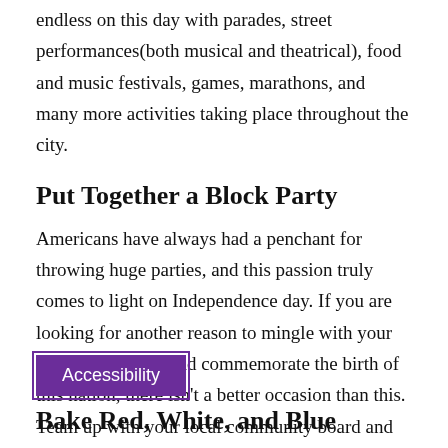endless on this day with parades, street performances(both musical and theatrical), food and music festivals, games, marathons, and many more activities taking place throughout the city.
Put Together a Block Party
Americans have always had a penchant for throwing huge parties, and this passion truly comes to light on Independence day. If you are looking for another reason to mingle with your local community and commemorate the birth of this nation, there isn't a better occasion than this. Team up with your local community board and plan a block party where everyone can come together for food, libations, live friendly games, and a good time.
[Figure (screenshot): Purple 'Accessibility' button with purple border outline]
Bake Red, White, and Blue